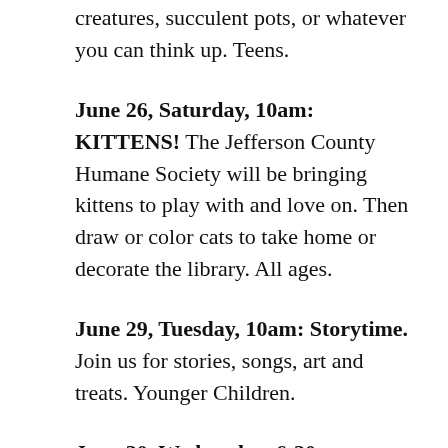Use air dry clay to sculpt animals, mythical creatures, succulent pots, or whatever you can think up. Teens.
June 26, Saturday, 10am: KITTENS! The Jefferson County Humane Society will be bringing kittens to play with and love on. Then draw or color cats to take home or decorate the library. All ages.
June 29, Tuesday, 10am: Storytime. Join us for stories, songs, art and treats. Younger Children.
June 30, Wednesday, 6:30pm: Library Board Meeting. Everyone.
July 1, Thursday, 3pm: Bubble Pop Alligators